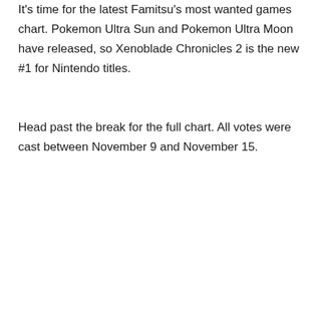It's time for the latest Famitsu's most wanted games chart. Pokemon Ultra Sun and Pokemon Ultra Moon have released, so Xenoblade Chronicles 2 is the new #1 for Nintendo titles.
Head past the break for the full chart. All votes were cast between November 9 and November 15.